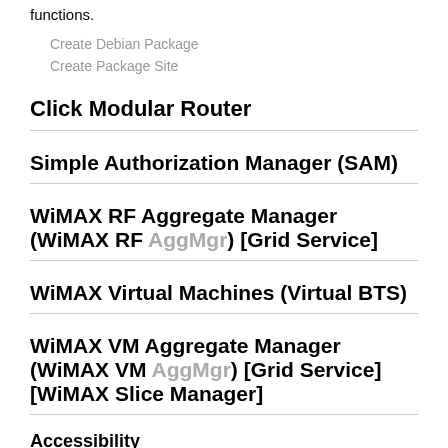functions.
Create Debian Package
Create Package Site
Click Modular Router
Simple Authorization Manager (SAM)
WiMAX RF Aggregate Manager (WiMAX RF AggMgr) [Grid Service]
WiMAX Virtual Machines (Virtual BTS)
WiMAX VM Aggregate Manager (WiMAX VM AggMgr) [Grid Service] [WiMAX Slice Manager]
Accessibility
Running on: cons-wm-02 Base URL: http://wm-asngw-02:5012/wimaxcl/
Functions supported
root@cons-wm-02:/usr/lib/ruby/1.8/omf-aggmg
<?xml version='1.0'?>